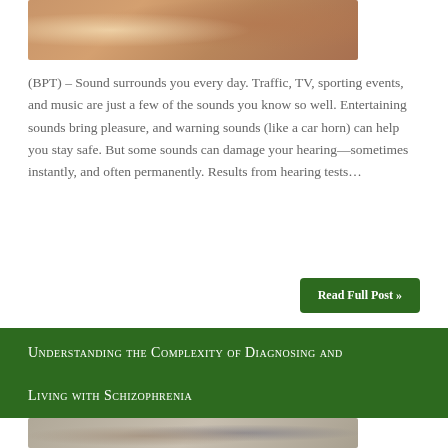[Figure (illustration): Medical illustration of inner ear anatomy showing sound waves entering the ear canal]
(BPT) – Sound surrounds you every day. Traffic, TV, sporting events, and music are just a few of the sounds you know so well. Entertaining sounds bring pleasure, and warning sounds (like a car horn) can help you stay safe. But some sounds can damage your hearing—sometimes instantly, and often permanently. Results from hearing tests…
Read Full Post »
Understanding the Complexity of Diagnosing and Living with Schizophrenia
[Figure (photo): Photo of two people, likely a patient and a healthcare provider or caregiver, in a medical or counseling setting]